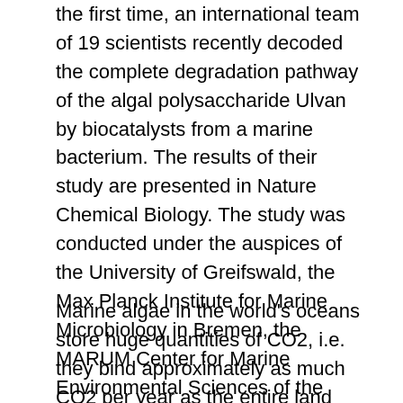the first time, an international team of 19 scientists recently decoded the complete degradation pathway of the algal polysaccharide Ulvan by biocatalysts from a marine bacterium. The results of their study are presented in Nature Chemical Biology. The study was conducted under the auspices of the University of Greifswald, the Max Planck Institute for Marine Microbiology in Bremen, the MARUM Center for Marine Environmental Sciences of the University of Bremen, the Vienna University of Technology (Austria) and the Biological Station in Roscoff (France).
Marine algae in the world's oceans store huge quantities of CO2, i.e. they bind approximately as much CO2 per year as the entire land vegetation. In this process, algae produce large